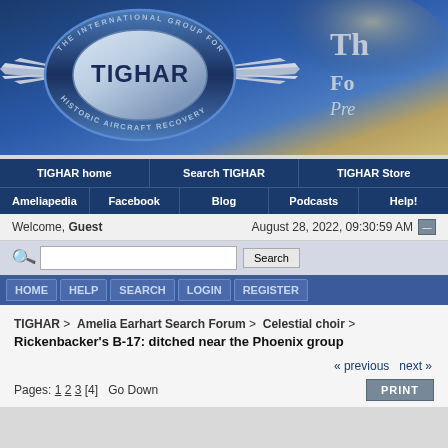[Figure (logo): TIGHAR logo - The International Group for Historic Aircraft Recovery, with winged emblem and blue circular badge]
TIGHAR home | Search TIGHAR | TIGHAR Store | Ameliapedia | Facebook | Blog | Podcasts | Help!
Welcome, Guest   August 28, 2022, 09:30:59 AM
HOME   HELP   SEARCH   LOGIN   REGISTER
TIGHAR > Amelia Earhart Search Forum > Celestial choir > Rickenbacker's B-17: ditched near the Phoenix group
« previous next »
Pages: 1 2 3 [4]   Go Down